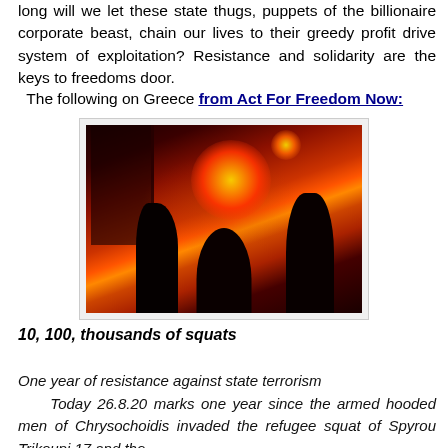long will we let these state thugs, puppets of the billionaire corporate beast, chain our lives to their greedy profit drive system of exploitation? Resistance and solidarity are the keys to freedoms door.
The following on Greece from Act For Freedom Now:
[Figure (photo): Nighttime protest scene with silhouettes of people against a bright orange-red fire/flare glow, smoke filling the air, dark building visible in background]
10, 100, thousands of squats
One year of resistance against state terrorism
Today 26.8.20 marks one year since the armed hooded men of Chrysochoidis invaded the refugee squat of Spyrou Trikoupi 17 and the